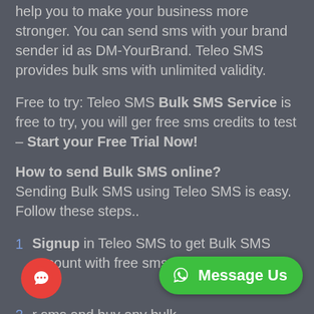help you to make your business more stronger. You can send sms with your brand sender id as DM-YourBrand. Teleo SMS provides bulk sms with unlimited validity.
Free to try: Teleo SMS Bulk SMS Service is free to try, you will ger free sms credits to test – Start your Free Trial Now!
How to send Bulk SMS online?
Sending Bulk SMS using Teleo SMS is easy. Follow these steps..
1  Signup in Teleo SMS to get Bulk SMS account with free sms credits.
2  r sms and buy any bulk  Rs.